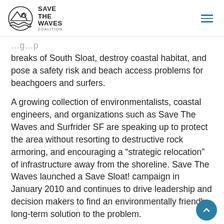Save The Waves Coalition
breaks of South Sloat, destroy coastal habitat, and pose a safety risk and beach access problems for beachgoers and surfers.
A growing collection of environmentalists, coastal engineers, and organizations such as Save The Waves and Surfrider SF are speaking up to protect the area without resorting to destructive rock armoring, and encouraging a “strategic relocation” of infrastructure away from the shoreline. Save The Waves launched a Save Sloat! campaign in January 2010 and continues to drive leadership and decision makers to find an environmentally friendly, long-term solution to the problem.